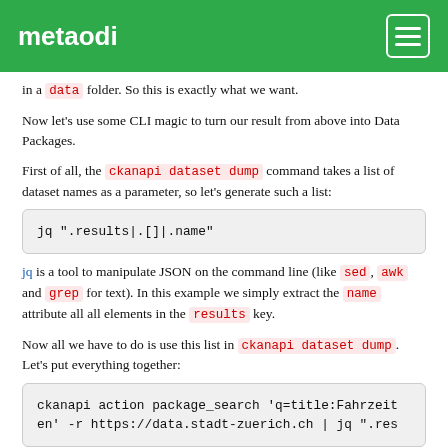metaodi
in a data folder. So this is exactly what we want.
Now let's use some CLI magic to turn our result from above into Data Packages.
First of all, the ckanapi dataset dump command takes a list of dataset names as a parameter, so let's generate such a list:
jq ".results|.[]|.name"
jq is a tool to manipulate JSON on the command line (like sed, awk and grep for text). In this example we simply extract the name attribute all all elements in the results key.
Now all we have to do is use this list in ckanapi dataset dump. Let's put everything together:
ckanapi action package_search 'q=title:Fahrzeiten' -r https://data.stadt-zuerich.ch | jq ".res